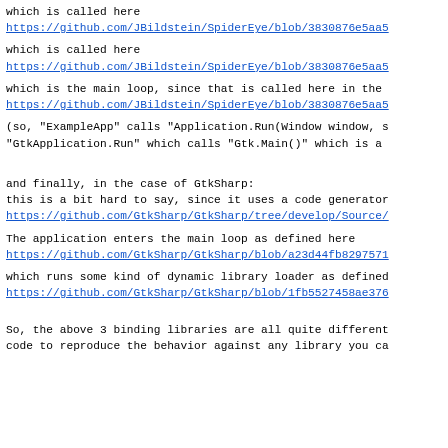which is called here
https://github.com/JBildstein/SpiderEye/blob/3830876e5aa5
which is called here
https://github.com/JBildstein/SpiderEye/blob/3830876e5aa5
which is the main loop, since that is called here in the
https://github.com/JBildstein/SpiderEye/blob/3830876e5aa5
(so, "ExampleApp" calls "Application.Run(Window window, s
"GtkApplication.Run" which calls "Gtk.Main()" which is a
and finally, in the case of GtkSharp:
this is a bit hard to say, since it uses a code generator
https://github.com/GtkSharp/GtkSharp/tree/develop/Source/
The application enters the main loop as defined here
https://github.com/GtkSharp/GtkSharp/blob/a23d44fb8297571
which runs some kind of dynamic library loader as defined
https://github.com/GtkSharp/GtkSharp/blob/1fb5527458ae376
So, the above 3 binding libraries are all quite different
code to reproduce the behavior against any library you ca